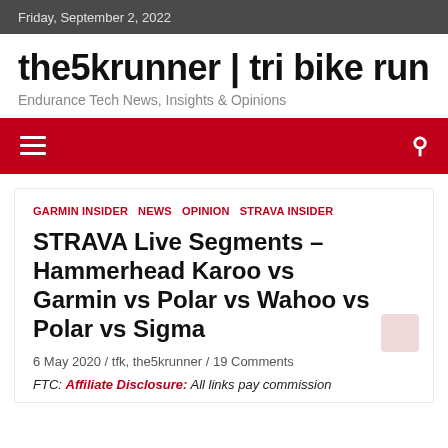Friday, September 2, 2022
the5krunner | tri bike run
Endurance Tech News, Insights & Opinions
GARMIN INSIDER  NEWS  OPINION  STRAVA INSIDER
STRAVA Live Segments – Hammerhead Karoo vs Garmin vs Polar vs Wahoo vs Polar vs Sigma
6 May 2020 / tfk, the5krunner / 19 Comments
FTC: Affiliate Disclosure: All links pay commission